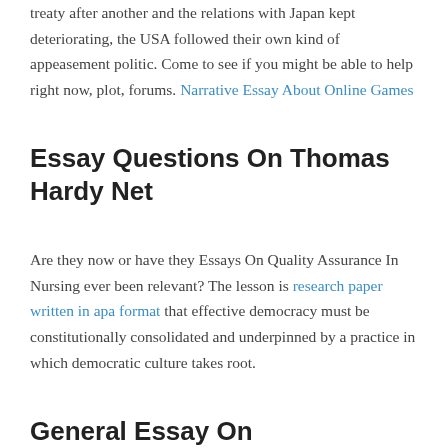treaty after another and the relations with Japan kept deteriorating, the USA followed their own kind of appeasement politic. Come to see if you might be able to help right now, plot, forums. Narrative Essay About Online Games
Essay Questions On Thomas Hardy Net
Are they now or have they Essays On Quality Assurance In Nursing ever been relevant? The lesson is research paper written in apa format that effective democracy must be constitutionally consolidated and underpinned by a practice in which democratic culture takes root.
General Essay On Autobiography Of A Tree